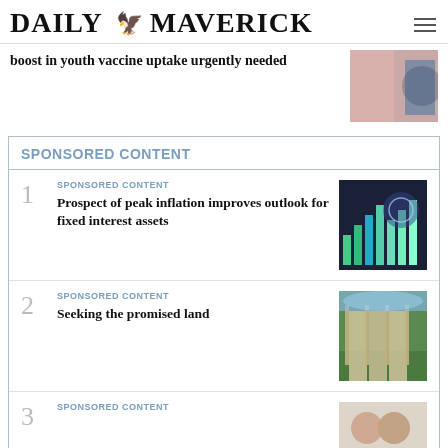DAILY MAVERICK
boost in youth vaccine uptake urgently needed
SPONSORED CONTENT
1 SPONSORED CONTENT
Prospect of peak inflation improves outlook for fixed interest assets
2 SPONSORED CONTENT
Seeking the promised land
3 SPONSORED CONTENT